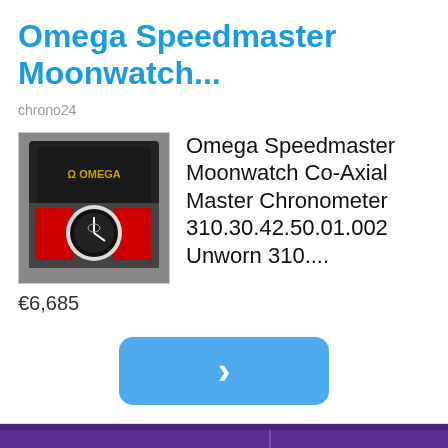Omega Speedmaster Moonwatch...
chrono24
[Figure (photo): Product thumbnail of Omega Speedmaster Moonwatch in open box with red packaging]
Omega Speedmaster Moonwatch Co-Axial Master Chronometer 310.30.42.50.01.002 Unworn 310....
€6,685
[Figure (other): Blue rounded rectangle button with a right-pointing chevron/arrow]
[Figure (photo): Purple van with 'download the myThrive' text and green dots logo]